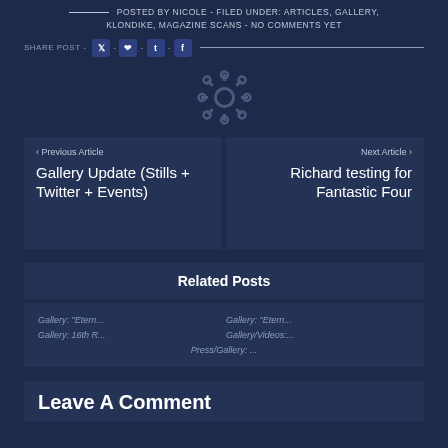POSTED BY NICOLE - FILED UNDER: ARTICLES, GALLERY, KLONDIKE, MAGAZINE SCANS - NO COMMENTS YET
SHARE POST - [Twitter] - [Pinterest] - [Tumblr] - [Facebook]
[Figure (illustration): Gear/settings icon in dark blue]
< Previous Article
Gallery Update (Stills + Twitter + Events)
Next Article >
Richard testing for Fantastic Four
Related Posts
Gallery: "Etern...
Gallery: 16th R...
Press/Gallery: ...
Gallery: "Etern...
Gallery/Videos:...
Leave A Comment